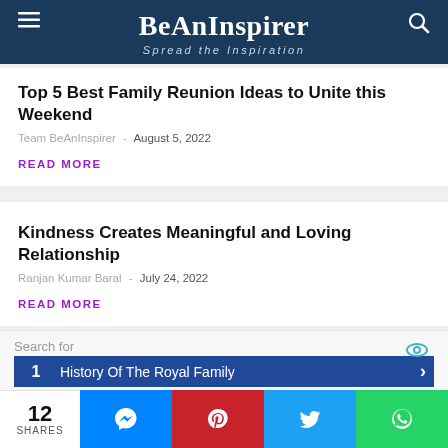BeAnInspirer — Spread the Inspiration
Top 5 Best Family Reunion Ideas to Unite this Weekend
Team BeAnInspirer - August 5, 2022
READ MORE
Kindness Creates Meaningful and Loving Relationship
Ranjan Kumar Baral - July 24, 2022
READ MORE
Search for
1  History Of The Royal Family
12 SHARES